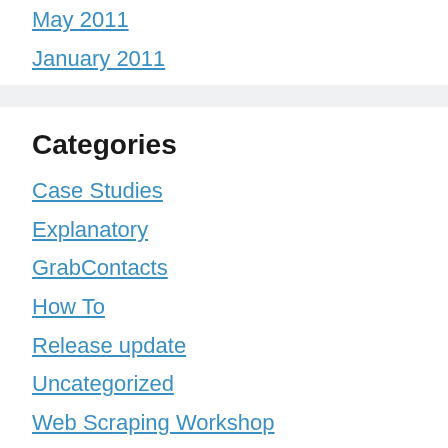May 2011
January 2011
Categories
Case Studies
Explanatory
GrabContacts
How To
Release update
Uncategorized
Web Scraping Workshop
WebHarvy